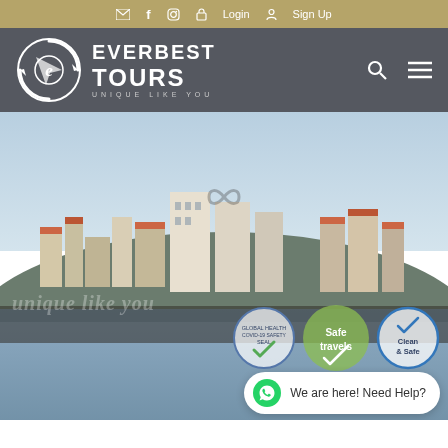✉ f instagram Login Sign Up
[Figure (logo): Everbest Tours logo with compass icon, text EVERBEST TOURS and tagline UNIQUE LIKE YOU on dark grey navigation bar with search and menu icons]
[Figure (photo): Hero photo of Porto cityscape with historic buildings on hillside and river in foreground, overlaid with watermark text 'unique like you', infinity symbol, and certification badges: COVID Safety Seal, Safe travels (green), Clean & Safe (blue circle)]
We are here! Need Help?